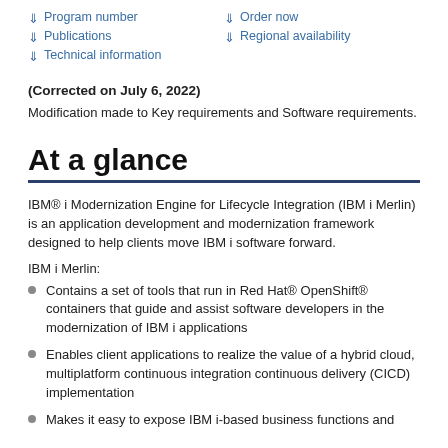Program number
Publications
Technical information
Order now
Regional availability
(Corrected on July 6, 2022)
Modification made to Key requirements and Software requirements.
At a glance
IBM® i Modernization Engine for Lifecycle Integration (IBM i Merlin) is an application development and modernization framework designed to help clients move IBM i software forward.
IBM i Merlin:
Contains a set of tools that run in Red Hat® OpenShift® containers that guide and assist software developers in the modernization of IBM i applications
Enables client applications to realize the value of a hybrid cloud, multiplatform continuous integration continuous delivery (CICD) implementation
Makes it easy to expose IBM i-based business functions and data as services using RESTful APIs for consumption by other platforms and applications